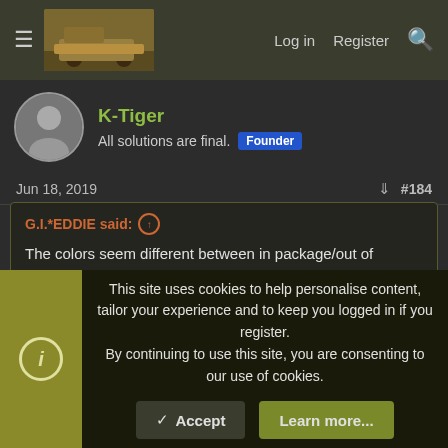K-Tiger forum page header with hamburger menu, logo, Log in, Register, and search
K-Tiger
All solutions are final. Founder
Jun 18, 2019  #184
G.I.*EDDIE said: ↑

The colors seem different between in package/out of package. Lighting? Paint samples? And unfortunately the in package colors look less desirable. They look more vivid.
The "out of package" photos are the CG rendering photos
This site uses cookies to help personalise content, tailor your experience and to keep you logged in if you register.
By continuing to use this site, you are consenting to our use of cookies.
✓ Accept   Learn more...